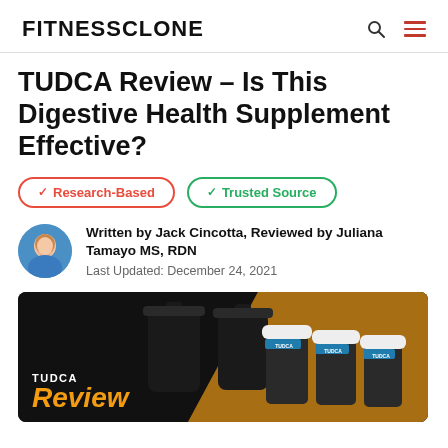FITNESS CLONE
TUDCA Review – Is This Digestive Health Supplement Effective?
✓ Research-Based
✓ Trusted Source
Written by Jack Cincotta, Reviewed by Juliana Tamayo MS, RDN
Last Updated: December 24, 2021
[Figure (photo): TUDCA supplement bottles on a dark and orange background with TUDCA Review text overlay]